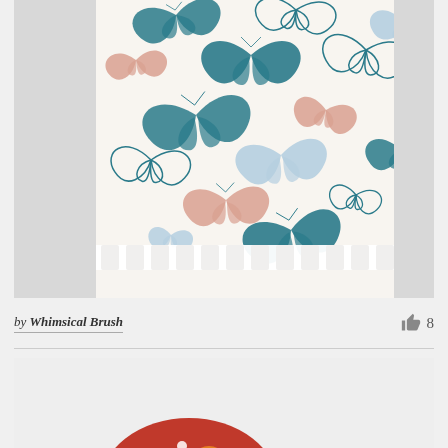[Figure (photo): Photo of a baby crib with a butterfly-patterned fabric/crib sheet hanging inside. The fabric features numerous butterflies in teal/dark teal, light blue, peach/salmon colors on a white background. The crib has white slats visible at the sides and bottom.]
by Whimsical Brush
[Figure (photo): Partial view of a mushroom-shaped object with red/orange tones and white spots, appearing to be a decorative item or toy. Only the top portion is visible at the bottom of the page.]